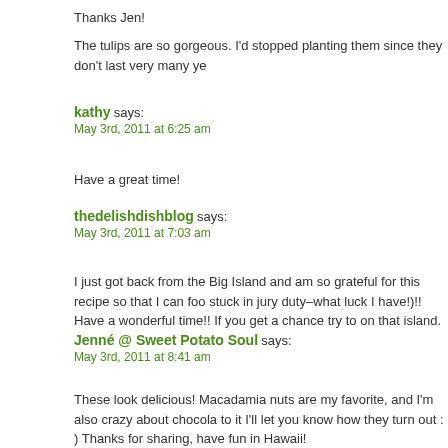Thanks Jen!
The tulips are so gorgeous. I'd stopped planting them since they don't last very many ye
kathy says:
May 3rd, 2011 at 6:25 am
Have a great time!
thedelishdishblog says:
May 3rd, 2011 at 7:03 am
I just got back from the Big Island and am so grateful for this recipe so that I can foo stuck in jury duty–what luck I have!)!! Have a wonderful time!! If you get a chance try to on that island.
Jenné @ Sweet Potato Soul says:
May 3rd, 2011 at 8:41 am
These look delicious! Macadamia nuts are my favorite, and I'm also crazy about chocola to it I'll let you know how they turn out : ) Thanks for sharing, have fun in Hawaii!
Kathy - Panini Happy says:
May 3rd, 2011 at 11:40 am
Well, shoot, now you've got me longing for the Big Island too! :-)